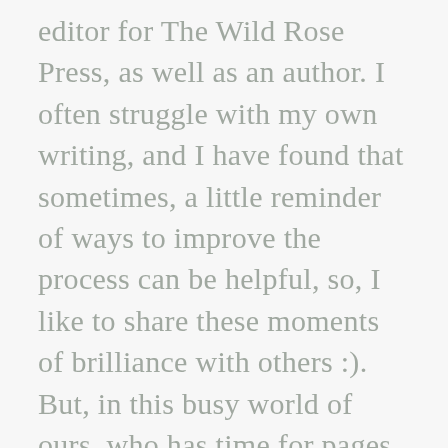editor for The Wild Rose Press, as well as an author. I often struggle with my own writing, and I have found that sometimes, a little reminder of ways to improve the process can be helpful, so, I like to share these moments of brilliance with others :). But, in this busy world of ours, who has time for pages and pages of writing tips? That’s why I’ve condensed mine down to quick flashes you can read in